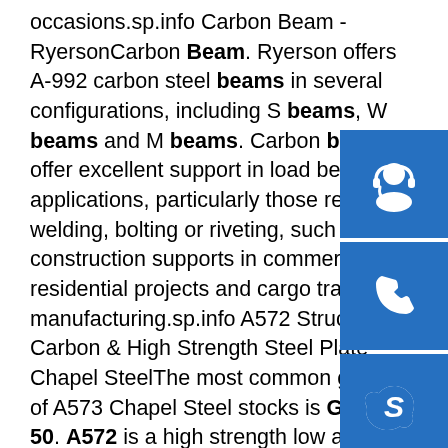occasions.sp.info Carbon Beam - RyersonCarbon Beam. Ryerson offers A-992 carbon steel beams in several configurations, including S beams, W beams and M beams. Carbon beams offer excellent support in load bearing applications, particularly those requiring welding, bolting or riveting, such as construction supports in commercial and residential projects and cargo trailer manufacturing.sp.info A572 Structural, Carbon & High Strength Steel Plate - Chapel SteelThe most common grade of A573 Chapel Steel stocks is Grade 50. A572 is a high strength low alloy steel plate used in a variety of structural applications. The most common grade Chapel Steel stocks is Grade 50.sp.info Structural Steel, Carbon, Stainless & Special Alloys ...Whether your structural steel specs are in inches or meters, European spec HEB beams or ASME spec, Galvanized, black or Corten, Traeger can supply it. Traeger Brothers is familiar with your required spec, and can supply the exact material that you need. Bar Stock. If you have a machine shop you will
[Figure (infographic): Three blue square buttons on the right side: a customer support / headset icon, a phone icon, and a Skype icon]